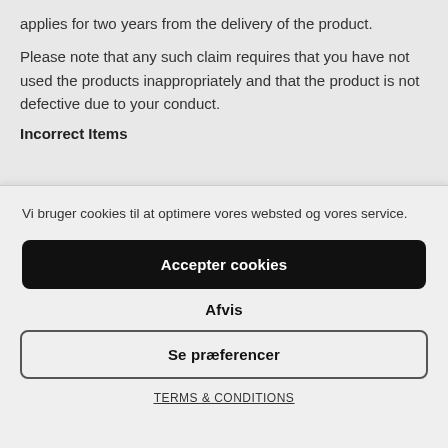applies for two years from the delivery of the product.
Please note that any such claim requires that you have not used the products inappropriately and that the product is not defective due to your conduct.
Incorrect Items
Vi bruger cookies til at optimere vores websted og vores service.
Accepter cookies
Afvis
Se præferencer
TERMS & CONDITIONS